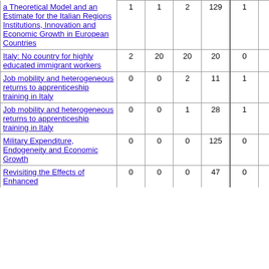| Title | col1 | col2 | col3 | col4 | col5 | col6 | col7 | col8 |
| --- | --- | --- | --- | --- | --- | --- | --- | --- |
| a Theoretical Model and an Estimate for the Italian Regions Institutions, Innovation and Economic Growth in European Countries | 1 | 1 | 2 | 129 | 1 | 1 | 5 | 126 |
| Italy: No country for highly educated immigrant workers | 2 | 20 | 20 | 20 | 0 | 2 | 2 | 2 |
| Job mobility and heterogeneous returns to apprenticeship training in Italy | 0 | 0 | 2 | 11 | 1 | 2 | 20 | 64 |
| Job mobility and heterogeneous returns to apprenticeship training in Italy | 0 | 0 | 1 | 28 | 1 | 2 | 6 | 78 |
| Military Expenditure, Endogeneity and Economic Growth | 0 | 0 | 0 | 125 | 0 | 0 | 3 | 306 |
| Revisiting the Effects of Enhanced | 0 | 0 | 0 | 47 | 0 | 1 | 1 | 90 |